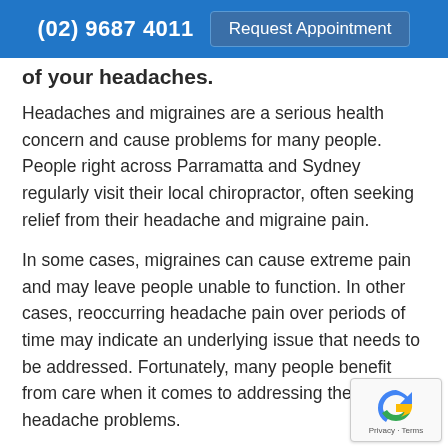(02) 9687 4011   Request Appointment
of your headaches.
Headaches and migraines are a serious health concern and cause problems for many people. People right across Parramatta and Sydney regularly visit their local chiropractor, often seeking relief from their headache and migraine pain.
In some cases, migraines can cause extreme pain and may leave people unable to function. In other cases, reoccurring headache pain over periods of time may indicate an underlying issue that needs to be addressed. Fortunately, many people benefit from care when it comes to addressing their headache problems.